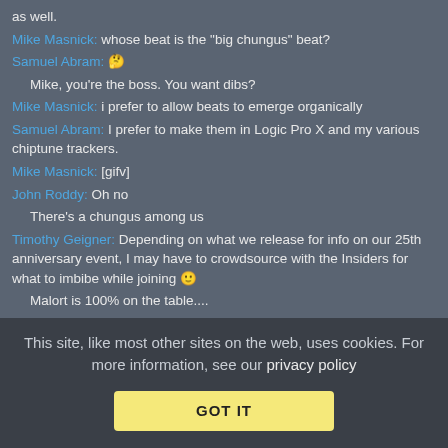as well.
Mike Masnick: whose beat is the "big chungus" beat?
Samuel Abram: 🤔
Mike, you're the boss. You want dibs?
Mike Masnick: i prefer to allow beats to emerge organically
Samuel Abram: I prefer to make them in Logic Pro X and my various chiptune trackers.
Mike Masnick: [gifv]
John Roddy: Oh no
There's a chungus among us
Timothy Geigner: Depending on what we release for info on our 25th anniversary event, I may have to crowdsource with the Insiders for what to imbibe while joining 🙂
Malort is 100% on the table....
Mike Masnick: Your Chicago-ness is showing
Timothy Geigner: https://tenor.com/view/oh-yes-ch...
This site, like most other sites on the web, uses cookies. For more information, see our privacy policy
GOT IT